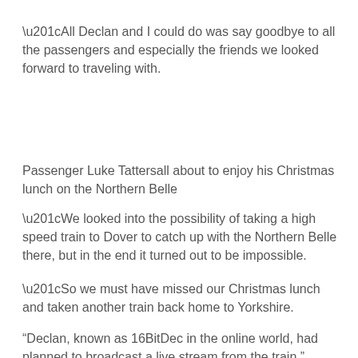“All Declan and I could do was say goodbye to all the passengers and especially the friends we looked forward to traveling with.
Passenger Luke Tattersall about to enjoy his Christmas lunch on the Northern Belle
“We looked into the possibility of taking a high speed train to Dover to catch up with the Northern Belle there, but in the end it turned out to be impossible.
“So we must have missed our Christmas lunch and taken another train back home to Yorkshire.
“Declan, known as 16BitDec in the online world, had planned to broadcast a live stream from the train.”